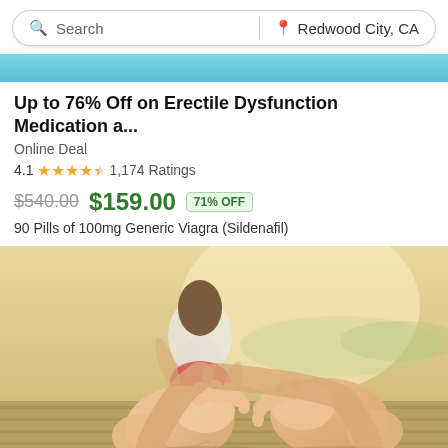Search | Redwood City, CA
[Figure (photo): Teal/cyan banner bar at top of deal listing]
Up to 76% Off on Erectile Dysfunction Medication a...
Online Deal
4.1 ★★★★½ 1,174 Ratings
$540.00 $159.00 71% OFF
90 Pills of 100mg Generic Viagra (Sildenafil)
[Figure (photo): Photo of a person lying on a wooden dock with feet (soles) in foreground, warm sunny background, outdoor scene]